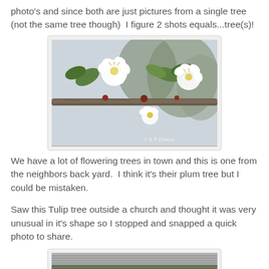photo's and since both are just pictures from a single tree (not the same tree though)  I figure 2 shots equals...tree(s)!
[Figure (photo): Close-up photo of white flowering tree blossoms on a branch, with green leaves, against a blurred background. Watermark reads © A. P. Furness]
We have a lot of flowering trees in town and this is one from the neighbors back yard.  I think it's their plum tree but I could be mistaken.
Saw this Tulip tree outside a church and thought it was very unusual in it's shape so I stopped and snapped a quick photo to share.
[Figure (photo): Partially visible photo of a Tulip tree near a building, cut off at the bottom of the page.]